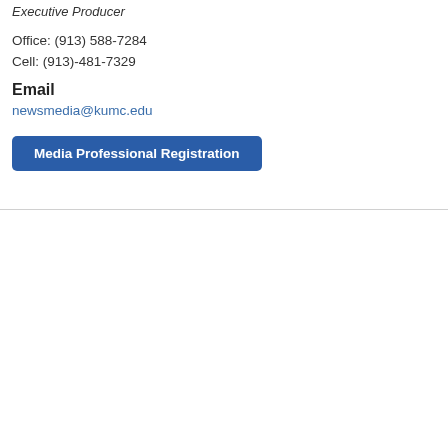Executive Producer
Office: (913) 588-7284
Cell: (913)-481-7329
Email
newsmedia@kumc.edu
Media Professional Registration